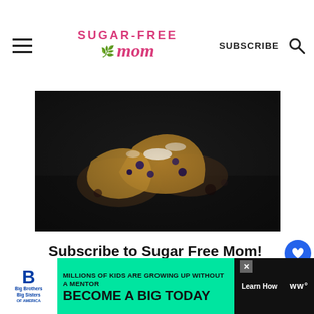Sugar-Free Mom | SUBSCRIBE
[Figure (photo): Dark food photography showing blueberry scones or baked goods on a dark surface with powdered sugar]
Subscribe to Sugar Free Mom!
Get updates on the latest posts and more from Sugar Free Mom straight to your inbox.
[Figure (infographic): Social sidebar with heart/like button showing 116 likes and a share button]
[Figure (infographic): Advertisement banner for Big Brothers Big Sisters: MILLIONS OF KIDS ARE GROWING UP WITHOUT A MENTOR. BECOME A BIG TODAY. Learn How.]